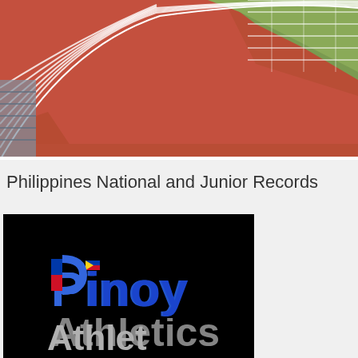[Figure (photo): Aerial view of a red athletic running track with white lane markings curving to the left, with green grass visible on the right side and metal bleachers on the far left.]
Philippines National and Junior Records
[Figure (logo): Black background image with colorful text reading 'Pinoy' in blue, yellow, red and white colors, partially showing additional text below cut off at bottom.]